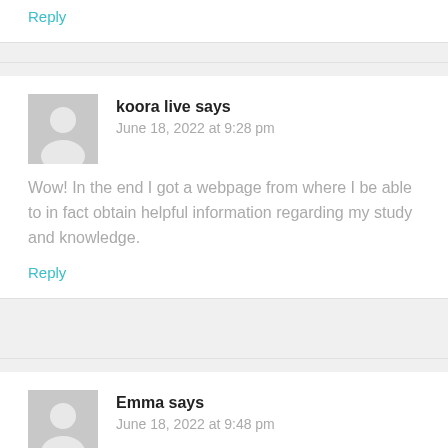Reply
koora live says
June 18, 2022 at 9:28 pm
Wow! In the end I got a webpage from where I be able to in fact obtain helpful information regarding my study and knowledge.
Reply
Emma says
June 18, 2022 at 9:48 pm